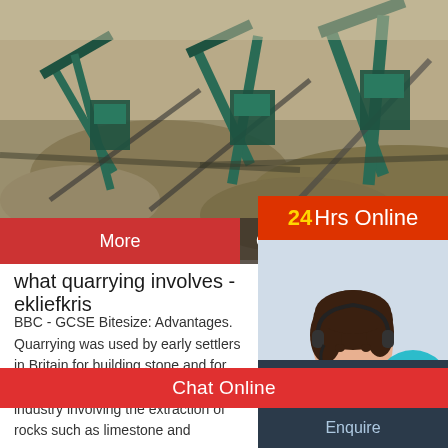[Figure (photo): Aerial view of a quarry site with industrial machinery, conveyors, and large piles of crushed stone/aggregate material.]
More
Online C
24Hrs Online
[Figure (photo): Customer service operator - woman wearing headset, smiling, with a teal/blue circle graphic overlay.]
what quarrying involves - ekliefkris
BBC - GCSE Bitesize: Advantages. Quarrying was used by early settlers in Britain for building stone and for weapons, and continues as a primary industry involving the extraction of rocks such as limestone and
Need questions & suggestion?
Chat Now
Chat Online
Enquire